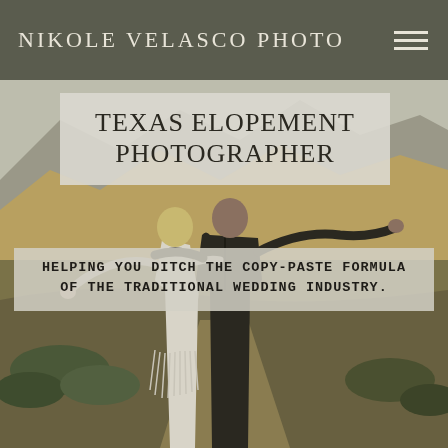NIKOLE VELASCO PHOTO
TEXAS ELOPEMENT PHOTOGRAPHER
HELPING YOU DITCH THE COPY-PASTE FORMULA OF THE TRADITIONAL WEDDING INDUSTRY.
[Figure (photo): Couple standing on a mountainside with arms outstretched, viewed from behind. Woman in white boho dress with fringe, man in dark suit. Mountain landscape with green shrubs and yellow-brown hills in background.]